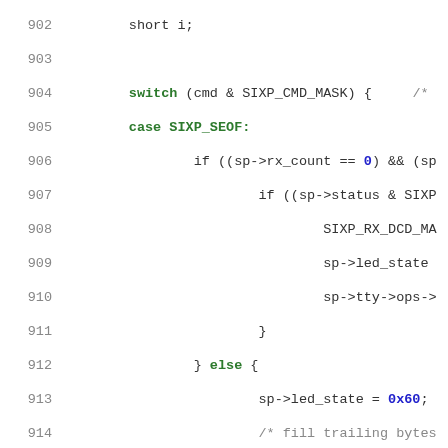Source code listing, lines 902-928, C language kernel code with switch/case structure for SIXP protocol handling